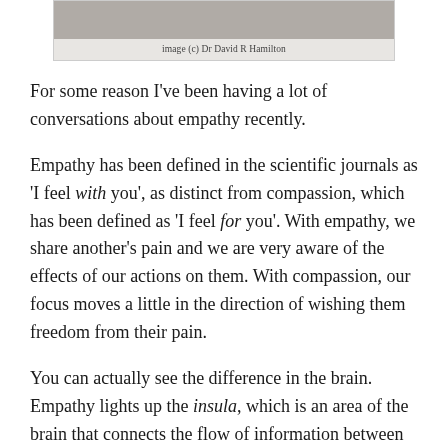[Figure (photo): Partial photo of a person (face/head area), cropped at top. Caption reads 'image (c) Dr David R Hamilton']
image (c) Dr David R Hamilton
For some reason I've been having a lot of conversations about empathy recently.
Empathy has been defined in the scientific journals as 'I feel with you', as distinct from compassion, which has been defined as 'I feel for you'. With empathy, we share another's pain and we are very aware of the effects of our actions on them. With compassion, our focus moves a little in the direction of wishing them freedom from their pain.
You can actually see the difference in the brain. Empathy lights up the insula, which is an area of the brain that connects the flow of information between